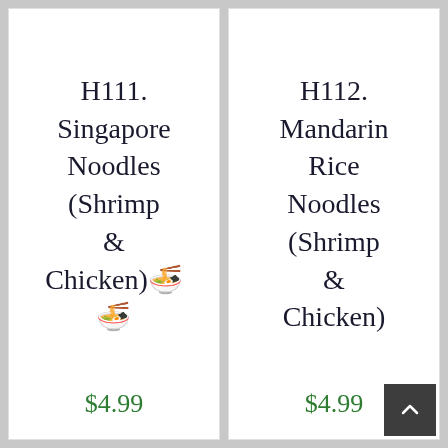H111. Singapore Noodles (Shrimp & Chicken)🍜 🍜
$4.99
H112. Mandarin Rice Noodles (Shrimp & Chicken)
$4.99